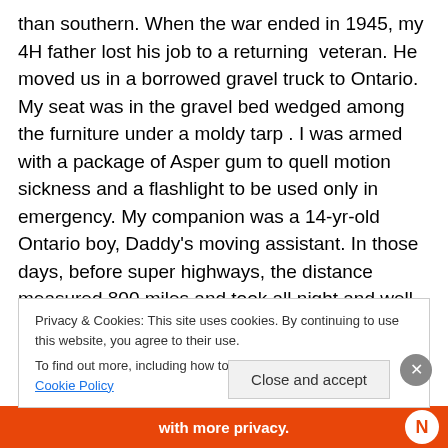than southern. When the war ended in 1945, my 4H father lost his job to a returning veteran. He moved us in a borrowed gravel truck to Ontario. My seat was in the gravel bed wedged among the furniture under a moldy tarp . I was armed with a package of Asper gum to quell motion sickness and a flashlight to be used only in emergency. My companion was a 14-yr-old Ontario boy, Daddy's moving assistant. In those days, before super highways, the distance measured 800 miles and took all night and well into the next day. I remember only the first hour. The banging and bumping of shifting furniture and
Privacy & Cookies: This site uses cookies. By continuing to use this website, you agree to their use.
To find out more, including how to control cookies, see here: Cookie Policy
Close and accept
[Figure (other): Orange ad banner at the bottom with text 'with more privacy.' and a logo icon]